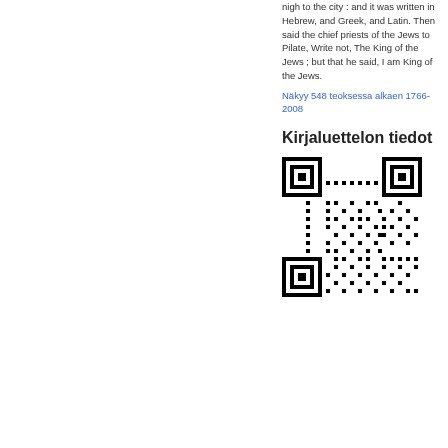nigh to the city : and it was written in Hebrew, and Greek, and Latin. Then said the chief priests of the Jews to Pilate, Write not, The King of the Jews ; but that he said, I am King of the Jews.
Näkyy 548 teoksessa alkaen 1766-2008
Kirjaluettelon tiedot
[Figure (other): QR code for Kirjaluettelon tiedot (library catalog information)]